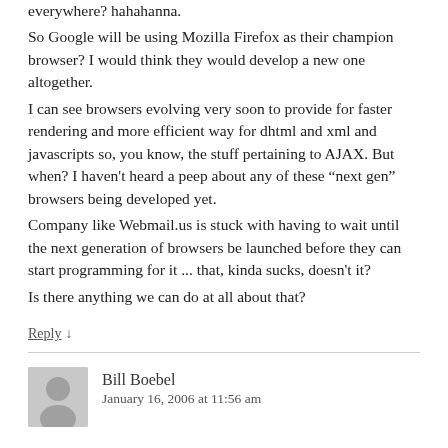everywhere? hahahanna.
So Google will be using Mozilla Firefox as their champion browser? I would think they would develop a new one altogether.
I can see browsers evolving very soon to provide for faster rendering and more efficient way for dhtml and xml and javascripts so, you know, the stuff pertaining to AJAX. But when? I haven't heard a peep about any of these “next gen” browsers being developed yet.
Company like Webmail.us is stuck with having to wait until the next generation of browsers be launched before they can start programming for it ... that, kinda sucks, doesn't it?
Is there anything we can do at all about that?
Reply ↓
Bill Boebel
January 16, 2006 at 11:56 am